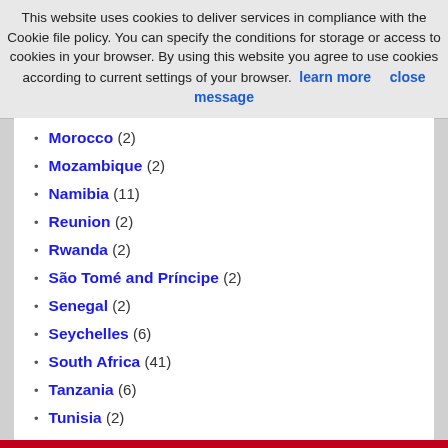This website uses cookies to deliver services in compliance with the Cookie file policy. You can specify the conditions for storage or access to cookies in your browser. By using this website you agree to use cookies according to current settings of your browser.  learn more     close message
Morocco (2)
Mozambique (2)
Namibia (11)
Reunion (2)
Rwanda (2)
São Tomé and Príncipe (2)
Senegal (2)
Seychelles (6)
South Africa (41)
Tanzania (6)
Tunisia (2)
Uganda (1)
Zambia (1)
Zimbabwe (3)
Antarctica (9)